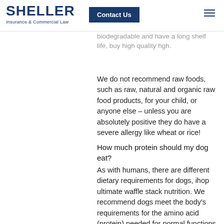SHELLER Insurance & Commercial Law | Contact Us
guarantee, for example you are buying 100% food grade, past ET which are completely recyclable, compostable and biodegradable and have a long shelf life, buy high quality hgh.
We do not recommend raw foods, such as raw, natural and organic raw food products, for your child, or anyone else – unless you are absolutely positive they do have a severe allergy like wheat or rice!
How much protein should my dog eat?
As with humans, there are different dietary requirements for dogs, ihop ultimate waffle stack nutrition. We recommend dogs meet the body’s requirements for the amino acid (protein) needed for normal functions during pregnancy, lactation, growth and development and for muscle maintenance in